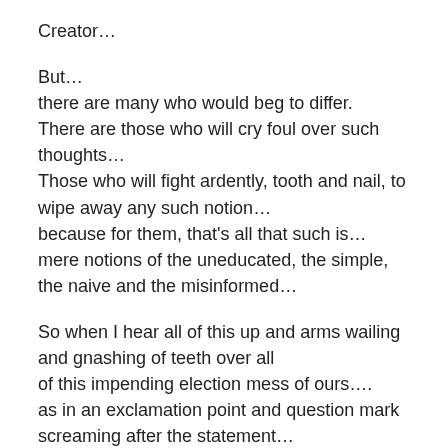Creator…
But…
there are many who would beg to differ.
There are those who will cry foul over such thoughts…
Those who will fight ardently, tooth and nail, to wipe away any such notion…
because for them, that's all that such is…
mere notions of the uneducated, the simple, the naive and the misinformed…
So when I hear all of this up and arms wailing and gnashing of teeth over all of this impending election mess of ours….
as in an exclamation point and question mark screaming after the statement…
THE CHOICE IS JUST THESE TWO…